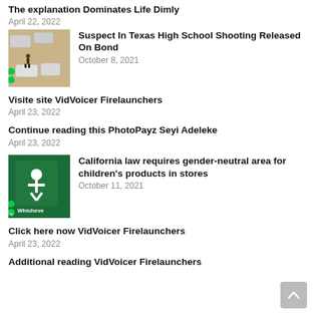The explanation Dominates Life Dimly
April 22, 2022
[Figure (photo): Aerial view of cars and a person walking in a parking lot]
Suspect In Texas High School Shooting Released On Bond
October 8, 2021
Visite site VidVoicer Firelaunchers
April 23, 2022
Continue reading this PhotoPayz Seyi Adeleke
April 23, 2022
[Figure (photo): Green sign with gender-neutral restroom symbol and text 'Whicheve']
California law requires gender-neutral area for children's products in stores
October 11, 2021
Click here now VidVoicer Firelaunchers
April 23, 2022
Additional reading VidVoicer Firelaunchers